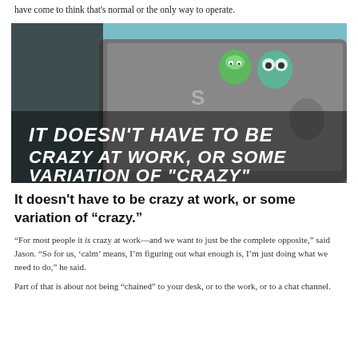have come to think that's normal or the only way to operate.
[Figure (photo): A laptop with stickers (including a green owl and other tech stickers) on a desk, with bold handwritten-style text overlay reading: IT DOESN'T HAVE TO BE CRAZY AT WORK, OR SOME VARIATION OF "CRAZY"]
It doesn't have to be crazy at work, or some variation of “crazy.”
“For most people it is crazy at work—and we want to just be the complete opposite,” said Jason. “So for us, ‘calm’ means, I’m figuring out what enough is, I’m just doing what we need to do,” he said.
Part of that is about not being “chained” to your desk, or to the work, or to a chat channel.